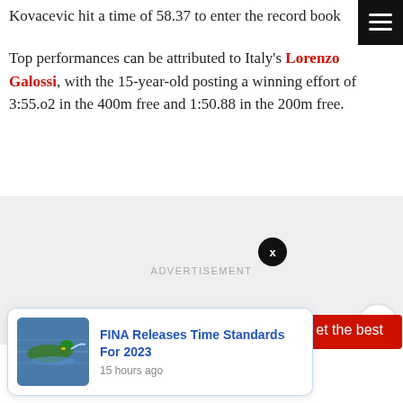Kovacevic hit a time of 58.37 to enter the record book
Top performances can be attributed to Italy's Lorenzo Galossi, with the 15-year-old posting a winning effort of 3:55.o2 in the 400m free and 1:50.88 in the 200m free.
[Figure (other): Advertisement placeholder section with light gray background and 'ADVERTISEMENT' label]
[Figure (other): Notification card showing 'FINA Releases Time Standards For 2023' with swimmer thumbnail image and '15 hours ago' timestamp, overlaid on a red bar and close button]